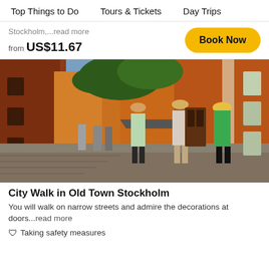Top Things to Do   Tours & Tickets   Day Trips
Stockholm,...read more
from US$11.67
[Figure (photo): Three women walking on narrow cobblestone street in Old Town Stockholm, flanked by orange and red historic buildings with green foliage]
City Walk in Old Town Stockholm
You will walk on narrow streets and admire the decorations at doors...read more
🛡 Taking safety measures